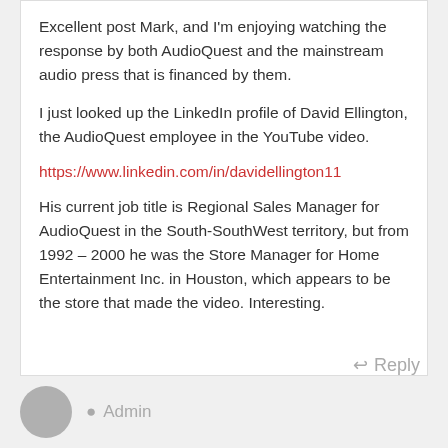Excellent post Mark, and I'm enjoying watching the response by both AudioQuest and the mainstream audio press that is financed by them.
I just looked up the LinkedIn profile of David Ellington, the AudioQuest employee in the YouTube video.
https://www.linkedin.com/in/davidellington11
His current job title is Regional Sales Manager for AudioQuest in the South-SouthWest territory, but from 1992 – 2000 he was the Store Manager for Home Entertainment Inc. in Houston, which appears to be the store that made the video. Interesting.
Reply
Admin